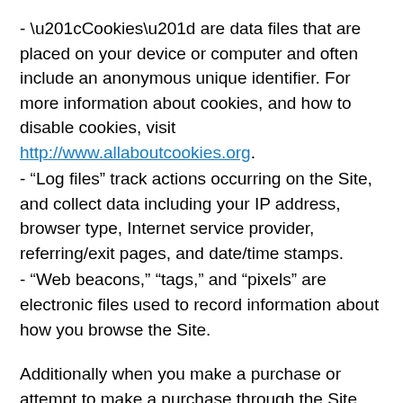- “Cookies” are data files that are placed on your device or computer and often include an anonymous unique identifier. For more information about cookies, and how to disable cookies, visit http://www.allaboutcookies.org.
- “Log files” track actions occurring on the Site, and collect data including your IP address, browser type, Internet service provider, referring/exit pages, and date/time stamps.
- “Web beacons,” “tags,” and “pixels” are electronic files used to record information about how you browse the Site.
Additionally when you make a purchase or attempt to make a purchase through the Site, we collect certain information from you, including your name, billing address, shipping address, payment information (including credit card numbers), email address, and